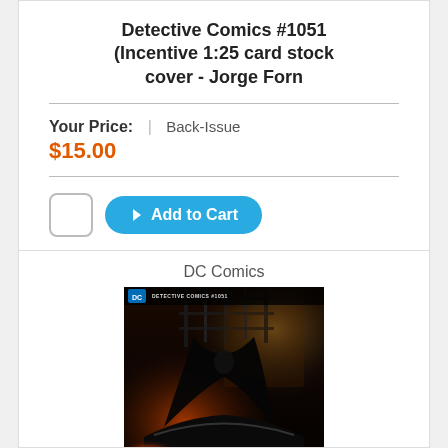Detective Comics #1051 (Incentive 1:25 card stock cover - Jorge Forn
Your Price:  |  Back-Issue
$15.00
[Figure (screenshot): Quantity input box and Add to Cart button]
DC Comics
[Figure (photo): Comic book cover art for Detective Comics #1051 showing Batman with cape flowing, standing near a car with dramatic lighting and city background]